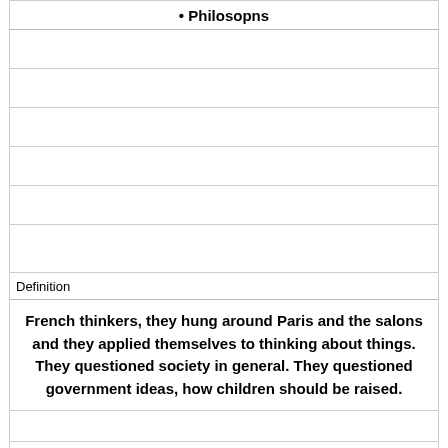• Philosopns
French thinkers, they hung around Paris and the salons and they applied themselves to thinking about things. They questioned society in general. They questioned government ideas, how children should be raised.
Definition
Term